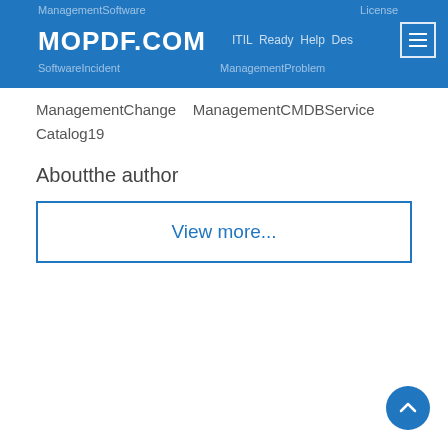ManagementSoftware License MOPDF.COM ITIL Ready Help Des SoftwareIncident ManagementProblem ManagementChange ManagementCMDBService Catalog19
SoftwareIncident ManagementProblem ManagementChange ManagementCMDBService Catalog19
Aboutthe author
View more...